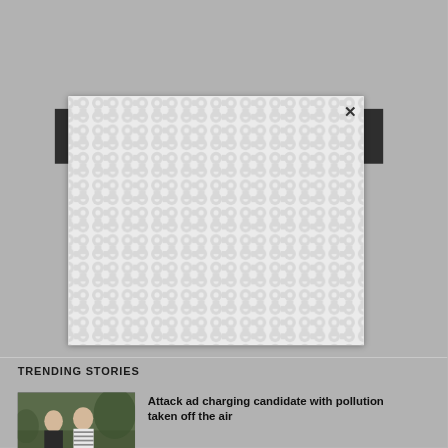[Figure (screenshot): Modal popup overlay with a repeating chain-link or figure-eight pattern on white background, with an X close button in the top right corner. Dark bars visible on left and right edges behind the modal.]
TRENDING STORIES
[Figure (photo): Photo of two people outdoors, a man in a dark jacket and a woman in a striped top.]
Attack ad charging candidate with pollution taken off the air